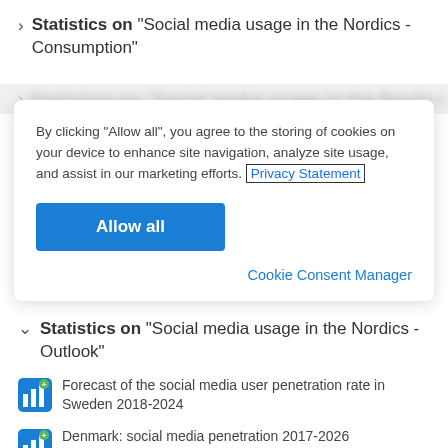› Statistics on "Social media usage in the Nordics - Consumption"
By clicking “Allow all”, you agree to the storing of cookies on your device to enhance site navigation, analyze site usage, and assist in our marketing efforts. Privacy Statement
Allow all
Cookie Consent Manager
∨ Statistics on "Social media usage in the Nordics - Outlook"
Forecast of the social media user penetration rate in Sweden 2018-2024
Denmark: social media penetration 2017-2026